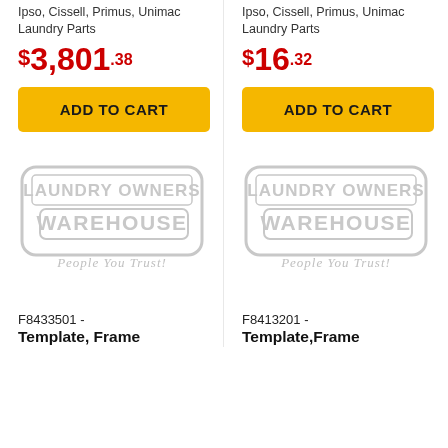Ipso, Cissell, Primus, Unimac Laundry Parts
$3,801.38
ADD TO CART
[Figure (logo): Laundry Owners Warehouse - People You Trust! watermark logo]
F8433501 - Template, Frame
Ipso, Cissell, Primus, Unimac Laundry Parts
$16.32
ADD TO CART
[Figure (logo): Laundry Owners Warehouse - People You Trust! watermark logo]
F8413201 - Template,Frame